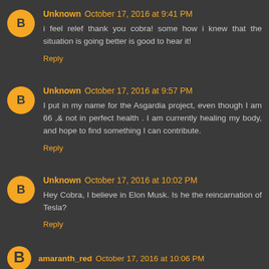Unknown October 17, 2016 at 9:41 PM
i feel relef thank you cobra! some how i knew that the situation is going better is good to hear it!
Reply
Unknown October 17, 2016 at 9:57 PM
I put in my name for the Asgardia project, even though I am 66 ,& not in perfect health . I am currently healing my body, and hope to find something I can contribute.
Reply
Unknown October 17, 2016 at 10:02 PM
Hey Cobra, I believe in Elon Musk. Is he the reincarnation of Tesla?
Reply
amaranth_red October 17, 2016 at 10:06 PM